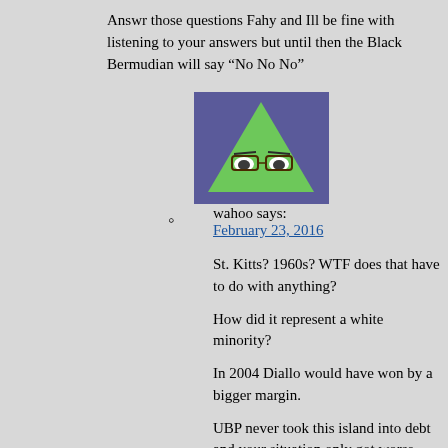Answr those questions Fahy and Ill be fine with listening to your answers but until then the Black Bermudian will say “No No No”
[Figure (illustration): Green triangle-shaped cartoon avatar with glasses on purple/blue background]
wahoo says:
February 23, 2016
St. Kitts? 1960s? WTF does that have to do with anything?
How did it represent a white minority?
In 2004 Diallo would have won by a bigger margin.
UBP never took this island into debt and your situation only got worse under the plp.
You bring up questions from 55 years ago but forget 1998- 2012 how convenient.
[Figure (photo): Photo of a coastal scene with blue-green water and rocky shoreline]
5. John E. Thorne says:
February 23, 2016
A very good outline as to why his initiatives are important to Bermuda and Bermudians.
[Figure (illustration): Partial avatar image at bottom of page, purple/lavender colored]